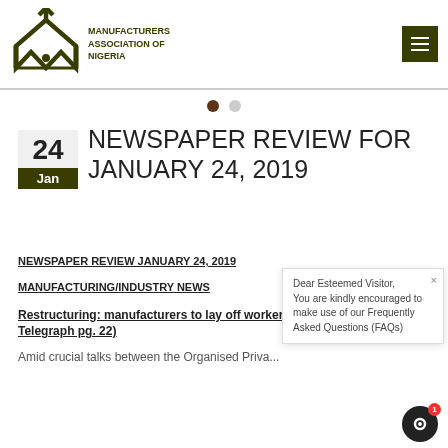[Figure (logo): Manufacturers Association of Nigeria (MAN) logo with house/arrow icon and organization name text]
NEWSPAPER REVIEW FOR JANUARY 24, 2019
NEWSPAPER REVIEW JANUARY 24, 2019
MANUFACTURING/INDUSTRY NEWS
Restructuring: manufacturers to lay off workers complaints (New Telegraph pg. 22)
Amid crucial talks between the Organised Priva...